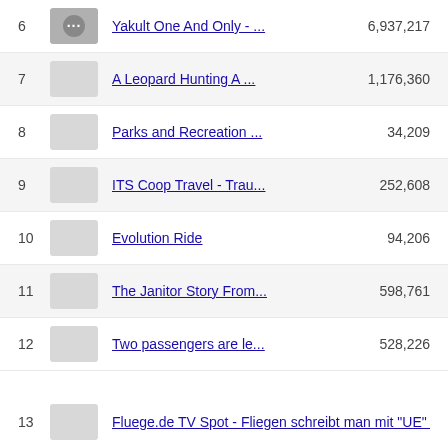6  Yakult One And Only - ...  6,937,217
7  A Leopard Hunting A ...  1,176,360
8  Parks and Recreation ...  34,209
9  ITS Coop Travel - Trau...  252,608
10  Evolution Ride  94,206
11  The Janitor Story From...  598,761
12  Two passengers are le...  528,226
13  Fluege.de TV Spot - Fliegen schreibt man mit "UE" - 1